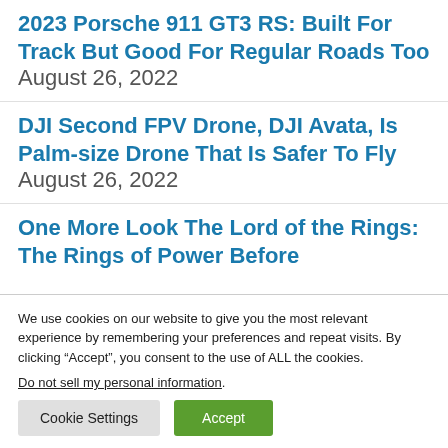2023 Porsche 911 GT3 RS: Built For Track But Good For Regular Roads Too August 26, 2022
DJI Second FPV Drone, DJI Avata, Is Palm-size Drone That Is Safer To Fly August 26, 2022
One More Look The Lord of the Rings: The Rings of Power Before
We use cookies on our website to give you the most relevant experience by remembering your preferences and repeat visits. By clicking “Accept”, you consent to the use of ALL the cookies.
Do not sell my personal information.